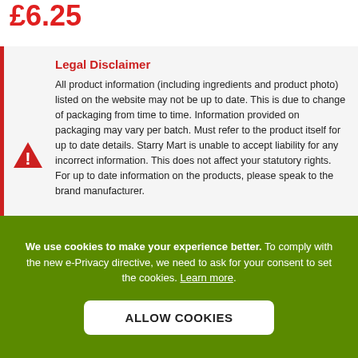£6.25
Legal Disclaimer
All product information (including ingredients and product photo) listed on the website may not be up to date. This is due to change of packaging from time to time. Information provided on packaging may vary per batch. Must refer to the product itself for up to date details. Starry Mart is unable to accept liability for any incorrect information. This does not affect your statutory rights. For up to date information on the products, please speak to the brand manufacturer.
We use cookies to make your experience better. To comply with the new e-Privacy directive, we need to ask for your consent to set the cookies. Learn more.
ALLOW COOKIES